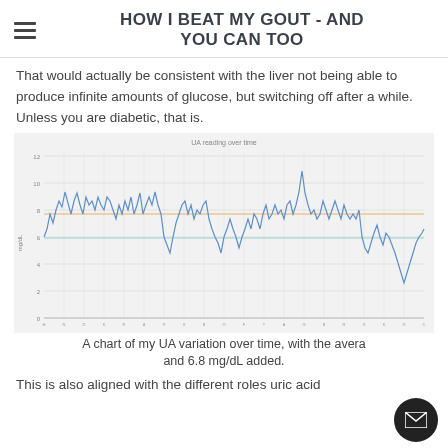HOW I BEAT MY GOUT - AND YOU CAN TOO
That would actually be consistent with the liver not being able to produce infinite amounts of glucose, but switching off after a while. Unless you are diabetic, that is.
[Figure (continuous-plot): A line chart showing UA (uric acid) readings over time. The y-axis ranges from 0 to 14 mg/dL. Two horizontal reference lines are visible: one orange (average) and one teal (6.8 mg/dL). The blue line fluctuates between roughly 6 and 11 mg/dL with a notable spike near the right side reaching approximately 13.]
A chart of my UA variation over time, with the average and 6.8 mg/dL added.
This is also aligned with the different roles uric acid